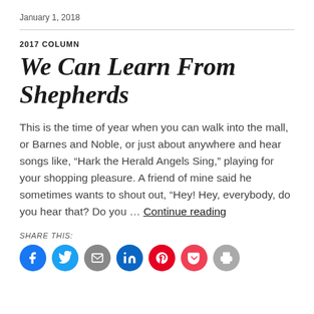January 1, 2018
2017 COLUMN
We Can Learn From Shepherds
This is the time of year when you can walk into the mall, or Barnes and Noble, or just about anywhere and hear songs like, “Hark the Herald Angels Sing,” playing for your shopping pleasure. A friend of mine said he sometimes wants to shout out, “Hey! Hey, everybody, do you hear that? Do you … Continue reading
SHARE THIS: